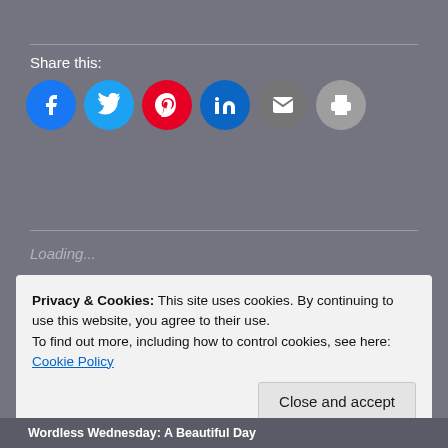Share this:
[Figure (infographic): Row of six circular social sharing buttons: Facebook (blue), Twitter (light blue), Pinterest (red), LinkedIn (teal/dark blue), Email (gray), Print (light gray)]
Loading...
Privacy & Cookies: This site uses cookies. By continuing to use this website, you agree to their use.
To find out more, including how to control cookies, see here: Cookie Policy
Close and accept
Wordless Wednesday: A Beautiful Day